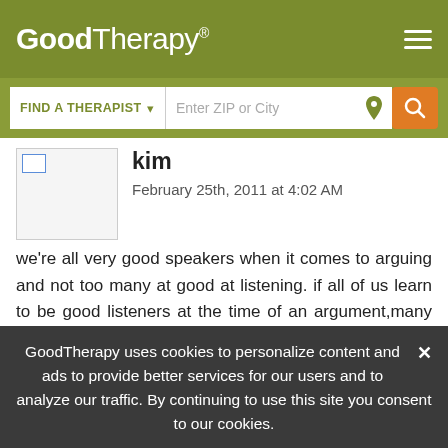GoodTherapy®
[Figure (screenshot): Search bar with FIND A THERAPIST dropdown and Enter ZIP or City input with location icon and orange search button]
[Figure (photo): Avatar placeholder image for commenter kim]
kim
February 25th, 2011 at 4:02 AM
we're all very good speakers when it comes to arguing and not too many at good at listening. if all of us learn to be good listeners at the time of an argument,many of these arguments will not occur at all!
Reply
GoodTherapy uses cookies to personalize content and ads to provide better services for our users and to analyze our traffic. By continuing to use this site you consent to our cookies.